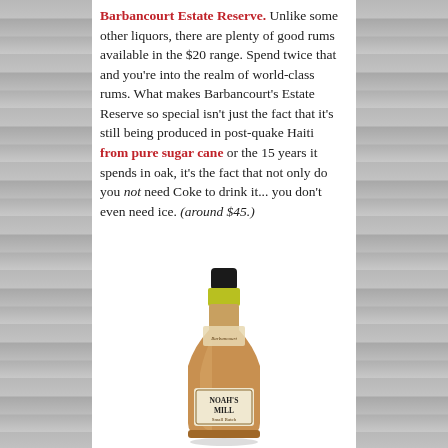Barbancourt Estate Reserve. Unlike some other liquors, there are plenty of good rums available in the $20 range. Spend twice that and you're into the realm of world-class rums. What makes Barbancourt's Estate Reserve so special isn't just the fact that it's still being produced in post-quake Haiti from pure sugar cane or the 15 years it spends in oak, it's the fact that not only do you not need Coke to drink it... you don't even need ice. (around $45.)
[Figure (photo): A bottle of Noah's Mill bourbon/whiskey with a dark cap, yellow foil neck wrap, and cream-colored label reading NOAH'S MILL]